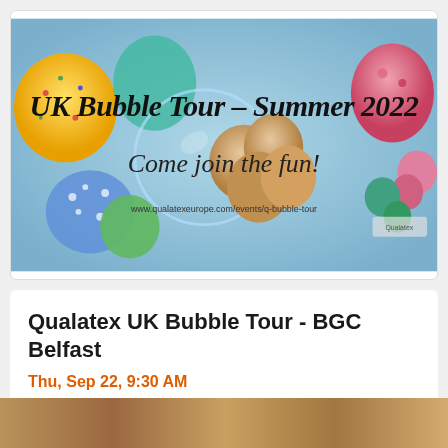[Figure (illustration): UK Bubble Tour - Summer 2022 promotional banner with colorful balloons and text 'Come join the fun!' and website www.qualatexeurope.com/events/q-bubble-tour]
Qualatex UK Bubble Tour - BGC Belfast
Thu, Sep 22, 9:30 AM
BGC Wholesale LTD • Belfast
£37.85
[Figure (photo): Partial photo strip visible at the bottom of the page, brownish/golden tones]